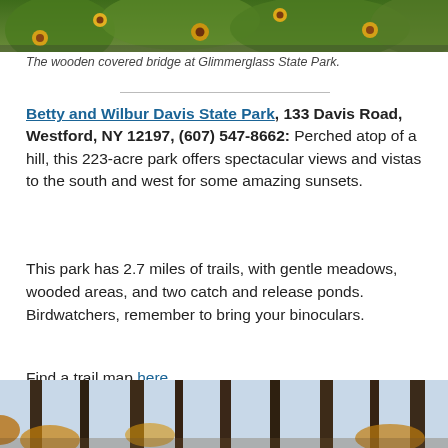[Figure (photo): Partial photo of flowers (black-eyed Susans and greenery) at Glimmerglass State Park, cropped at top of page.]
The wooden covered bridge at Glimmerglass State Park.
Betty and Wilbur Davis State Park, 133 Davis Road, Westford, NY 12197, (607) 547-8662: Perched atop of a hill, this 223-acre park offers spectacular views and vistas to the south and west for some amazing sunsets.
This park has 2.7 miles of trails, with gentle meadows, wooded areas, and two catch and release ponds. Birdwatchers, remember to bring your binoculars.
Find a trail map here…
[Figure (photo): Photo of a wooded area with tall bare trees and autumn foliage, partially visible at the bottom of the page.]